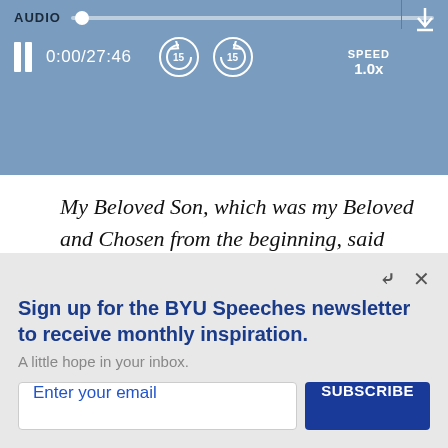[Figure (screenshot): Audio player bar with progress track, pause button, time display 0:00/27:46, skip 15 back and forward buttons, speed 1.0x, and download icon]
My Beloved Son, which was my Beloved and Chosen from the beginning, said unto me–Father, thy will be done, and the glory be thine forever. [Moses 4:—]
What a difference! Jesus Christ stepped
Sign up for the BYU Speeches newsletter to receive monthly inspiration.
A little hope in your inbox.
Enter your email
SUBSCRIBE